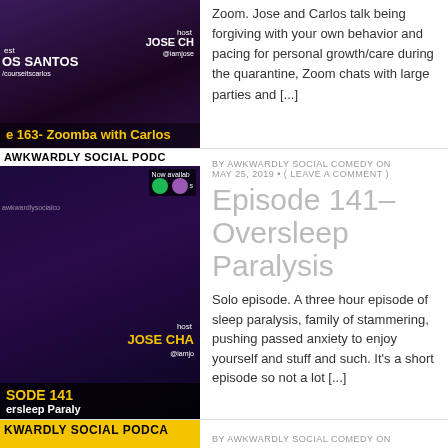[Figure (photo): Podcast thumbnail showing guests with host labels, partial view, with yellow title text 'e 163- Zoomba with Carlos']
Zoom. Jose and Carlos talk being forgiving with your own behavior and pacing for personal growth/care during the quarantine, Zoom chats with large parties and [...]
[Figure (photo): Awkwardly Social Podcast thumbnail for Episode 141, host Jose Cha shown, with Spotify/podcast badges and 'ersleep Paraly' text at bottom]
BY AWKWARDLY SOCIAL COMEDY ON MAY 25, 2019 • ( LEAVE A COMMENT )
Episode 141- Oversleep Paralysis
Solo episode. A three hour episode of sleep paralysis, family of stammering, pushing passed anxiety to enjoy yourself and stuff and such. It's a short episode so not a lot [...]
[Figure (photo): Awkwardly Social Podcast banner in yellow/black, partial row at bottom]
BY AWKWARDLY SOCIAL COMEDY ON